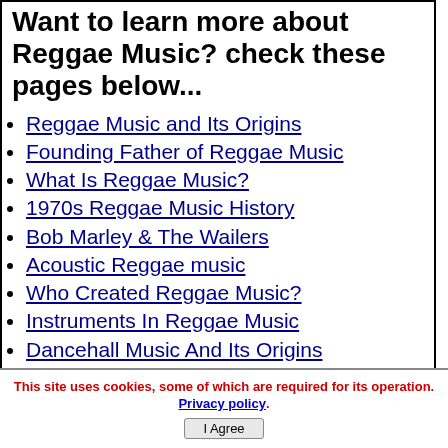Want to learn more about Reggae Music? check these pages below...
Reggae Music and Its Origins
Founding Father of Reggae Music
What Is Reggae Music?
1970s Reggae Music History
Bob Marley & The Wailers
Acoustic Reggae music
Who Created Reggae Music?
Instruments In Reggae Music
Dancehall Music And Its Origins
Christian Reggae Music
This site uses cookies, some of which are required for its operation. Privacy policy. I Agree